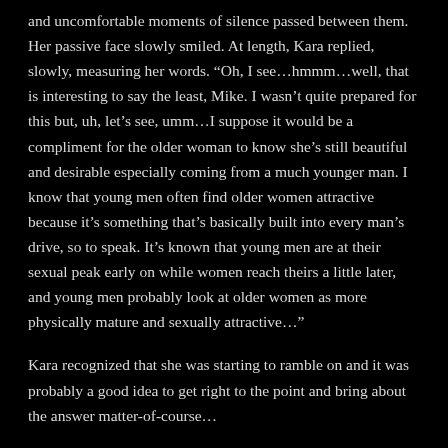and uncomfortable moments of silence passed between them. Her passive face slowly smiled. At length, Kara replied, slowly, measuring her words. “Oh, I see…hmmm…well, that is interesting to say the least, Mike. I wasn’t quite prepared for this but, uh, let’s see, umm…I suppose it would be a compliment for the older woman to know she’s still beautiful and desirable especially coming from a much younger man. I know that young men often find older women attractive because it’s something that’s basically built into every man’s drive, so to speak. It’s known that young men are at their sexual peak early on while women reach theirs a little later, and young men probably look at older women as more physically mature and sexually attractive…”
Kara recognized that she was starting to ramble on and it was probably a good idea to get right to the point and bring about the answer matter-of-course...